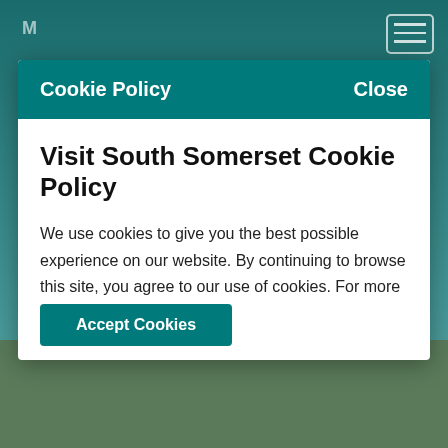Cookie Policy   Close
Visit South Somerset Cookie Policy
We use cookies to give you the best possible experience on our website. By continuing to browse this site, you agree to our use of cookies. For more information, including how you can amend your preferences, please read our Cookie Policy.